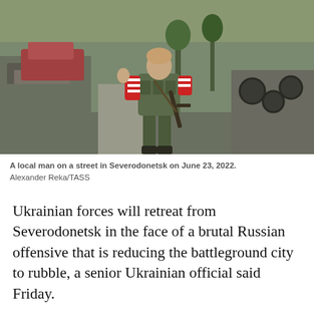[Figure (photo): A local man wearing a striped red and white shirt and military tactical vest, carrying a rifle, walking on a debris-strewn street in Severodonetsk. Burned vehicles and rubble visible in the background.]
A local man on a street in Severodonetsk on June 23, 2022.
Alexander Reka/TASS
Ukrainian forces will retreat from Severodonetsk in the face of a brutal Russian offensive that is reducing the battleground city to rubble, a senior Ukrainian official said Friday.
The news came shortly after the European Union